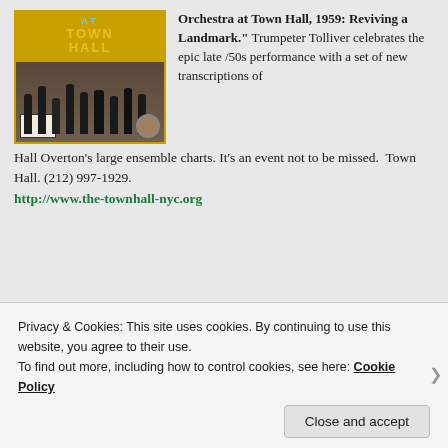[Figure (photo): Album cover for a jazz performance 'At Town Hall' showing a big band orchestra on stage with gold/yellow border and teal text]
Orchestra at Town Hall, 1959: Reviving a Landmark.” Trumpeter Tolliver celebrates the epic late /50s performance with a set of new transcriptions of Hall Overton’s large ensemble charts. It’s an event not to be missed. Town Hall. (212) 997-1929. http://www.the-townhall-nyc.org
[Figure (screenshot): Website UI showing an Apply button and a circular photo of a person thinking, part of a webpage advertisement]
Privacy & Cookies: This site uses cookies. By continuing to use this website, you agree to their use.
To find out more, including how to control cookies, see here: Cookie Policy
Close and accept